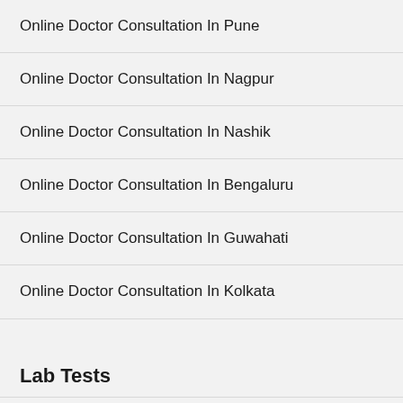Online Doctor Consultation In Pune
Online Doctor Consultation In Nagpur
Online Doctor Consultation In Nashik
Online Doctor Consultation In Bengaluru
Online Doctor Consultation In Guwahati
Online Doctor Consultation In Kolkata
Lab Tests
Lab Tests In Mumbai